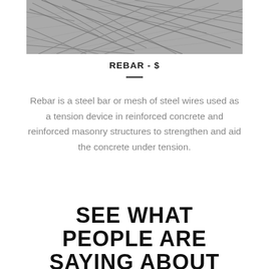[Figure (photo): Close-up photo of tangled steel rebar wires, shown in grayscale.]
REBAR - $
Rebar is a steel bar or mesh of steel wires used as a tension device in reinforced concrete and reinforced masonry structures to strengthen and aid the concrete under tension.
SEE WHAT PEOPLE ARE SAYING ABOUT